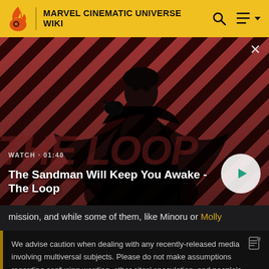MARVEL CINEMATIC UNIVERSE WIKI
[Figure (screenshot): Video thumbnail showing a dark-clad figure with a raven on shoulder against red and black diagonal stripe background. Text overlay shows 'WATCH · 01:40' and title 'The Sandman Will Keep You Awake - The Loop' with a circular play button on the right.]
mission, and while some of them, like Minoru or Molly
We advise caution when dealing with any recently-released media involving multiversal subjects. Please do not make assumptions regarding confusing wording, other sites' speculation, and people's headcanon around the internet.